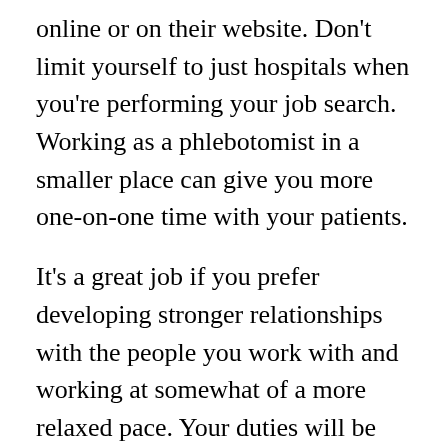online or on their website. Don't limit yourself to just hospitals when you're performing your job search. Working as a phlebotomist in a smaller place can give you more one-on-one time with your patients.
It's a great job if you prefer developing stronger relationships with the people you work with and working at somewhat of a more relaxed pace. Your duties will be the same, but you may not see as many people a day as you would in a hospital.
Emergency Centers
If you have a passion for helping people and don't mind working strange hours, you might find